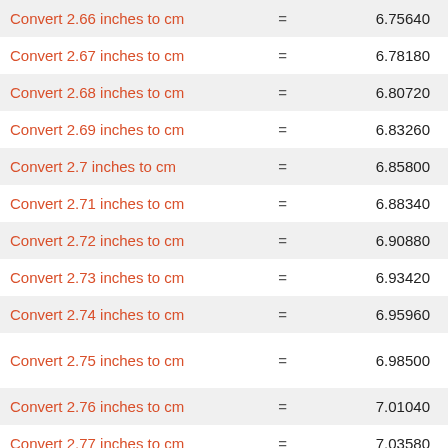| Conversion | = | Result |
| --- | --- | --- |
| Convert 2.66 inches to cm | = | 6.75640 |
| Convert 2.67 inches to cm | = | 6.78180 |
| Convert 2.68 inches to cm | = | 6.80720 |
| Convert 2.69 inches to cm | = | 6.83260 |
| Convert 2.7 inches to cm | = | 6.85800 |
| Convert 2.71 inches to cm | = | 6.88340 |
| Convert 2.72 inches to cm | = | 6.90880 |
| Convert 2.73 inches to cm | = | 6.93420 |
| Convert 2.74 inches to cm | = | 6.95960 |
| Convert 2.75 inches to cm | = | 6.98500 |
| Convert 2.76 inches to cm | = | 7.01040 |
| Convert 2.77 inches to cm | = | 7.03580 |